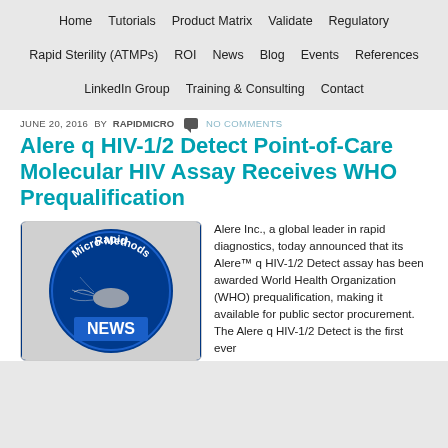Home | Tutorials | Product Matrix | Validate | Regulatory | Rapid Sterility (ATMPs) | ROI | News | Blog | Events | References | LinkedIn Group | Training & Consulting | Contact
JUNE 20, 2016 BY RAPIDMICRO  NO COMMENTS
Alere q HIV-1/2 Detect Point-of-Care Molecular HIV Assay Receives WHO Prequalification
[Figure (illustration): Rapid Micro Methods NEWS circular badge logo with bacteria illustration on dark blue background]
Alere Inc., a global leader in rapid diagnostics, today announced that its Alere™ q HIV-1/2 Detect assay has been awarded World Health Organization (WHO) prequalification, making it available for public sector procurement. The Alere q HIV-1/2 Detect is the first ever...